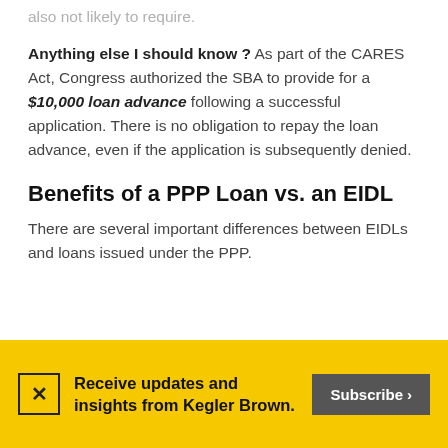also not likely to require.
Anything else I should know ? As part of the CARES Act, Congress authorized the SBA to provide for a $10,000 loan advance following a successful application. There is no obligation to repay the loan advance, even if the application is subsequently denied.
Benefits of a PPP Loan vs. an EIDL
There are several important differences between EIDLs and loans issued under the PPP.
Receive updates and insights from Kegler Brown.
Subscribe >